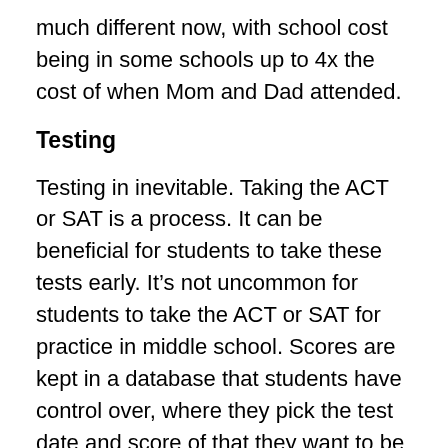much different now, with school cost being in some schools up to 4x the cost of when Mom and Dad attended.
Testing
Testing in inevitable. Taking the ACT or SAT is a process. It can be beneficial for students to take these tests early. It’s not uncommon for students to take the ACT or SAT for practice in middle school. Scores are kept in a database that students have control over, where they pick the test date and score of that they want to be reported to the institution(s) they choose. Test optional is a database of 850+ schools that